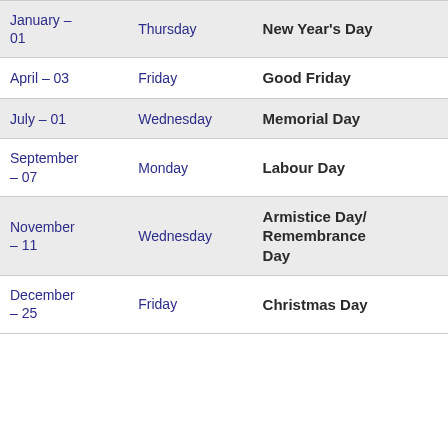| Date | Day | Holiday |
| --- | --- | --- |
| January – 01 | Thursday | New Year's Day |
| April – 03 | Friday | Good Friday |
| July – 01 | Wednesday | Memorial Day |
| September – 07 | Monday | Labour Day |
| November – 11 | Wednesday | Armistice Day/ Remembrance Day |
| December – 25 | Friday | Christmas Day |